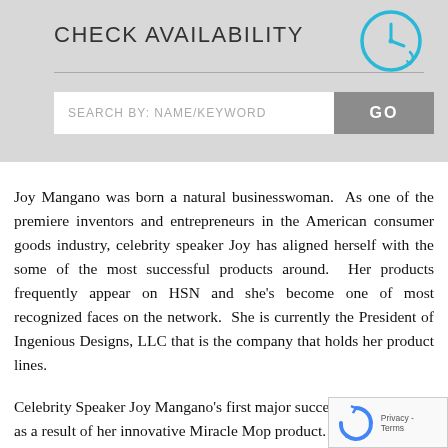CHECK AVAILABILITY
[Figure (illustration): Cyan/blue clock icon circle with clock hands pointing, outlined in cyan]
SEARCH BY: NAME/KEYWORD
GO
Joy Mangano was born a natural businesswoman.  As one of the premiere inventors and entrepreneurs in the American consumer goods industry, celebrity speaker Joy has aligned herself with the some of the most successful products around.  Her products frequently appear on HSN and she's become one of most recognized faces on the network.  She is currently the President of Ingenious Designs, LLC that is the company that holds her product lines.
Celebrity Speaker Joy Mangano's first major succe... as a result of her innovative Miracle Mop product.  The
[Figure (logo): reCAPTCHA badge with Privacy - Terms text]